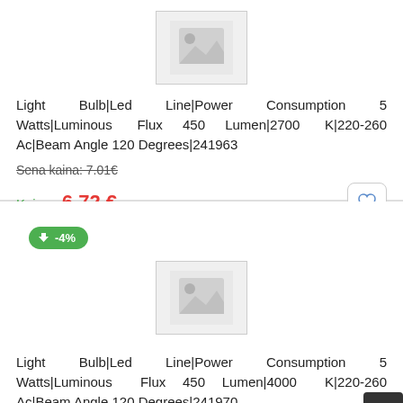[Figure (photo): Product placeholder image (gray mountain/image icon)]
Light Bulb|Led Line|Power Consumption 5 Watts|Luminous Flux 450 Lumen|2700 K|220-260 Ac|Beam Angle 120 Degrees|241963
Sena kaina: 7.01€
Kaina 6.72 €
-4%
[Figure (photo): Product placeholder image (gray mountain/image icon)]
Light Bulb|Led Line|Power Consumption 5 Watts|Luminous Flux 450 Lumen|4000 K|220-260 Ac|Beam Angle 120 Degrees|241970